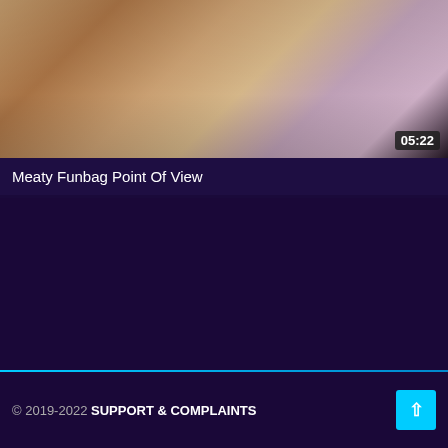[Figure (screenshot): Video thumbnail showing a close-up skin-toned image with a duration badge showing 05:22 in the bottom right corner]
Meaty Funbag Point Of View
[Figure (other): Two small circular icons (thumbs up and X/close) in the main dark purple content area]
© 2019-2022 SUPPORT & COMPLAINTS